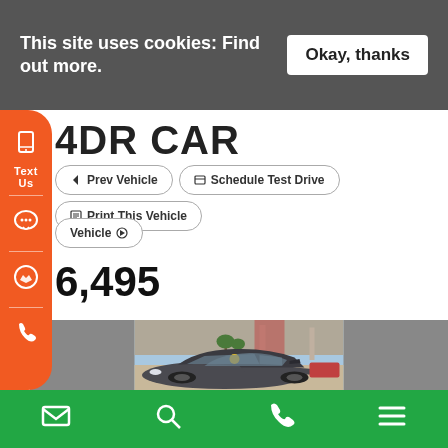This site uses cookies: Find out more.
Okay, thanks
4DR CAR
Prev Vehicle | Schedule Test Drive | Print This Vehicle
Vehicle ▶
$6,495
[Figure (photo): A gray/dark sedan car photographed at a dealership lot with palm trees, blue sky, and other vehicles in the background. A yellow price sticker is visible on the windshield.]
Text Us
Email | Search | Phone | Menu